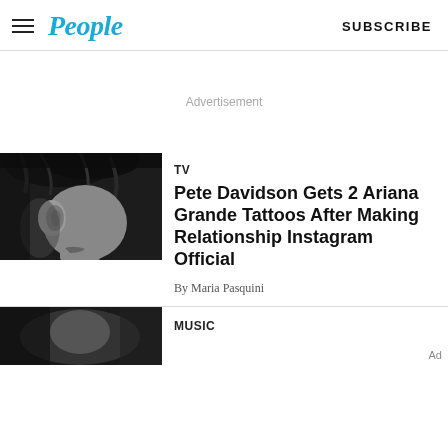People | SUBSCRIBE
Advertisement
[Figure (photo): Black and white close-up photo of a person's ear and neck showing a tattoo]
TV
Pete Davidson Gets 2 Ariana Grande Tattoos After Making Relationship Instagram Official
By Maria Pasquini
[Figure (photo): Black and white photo, partially visible at bottom]
MUSIC